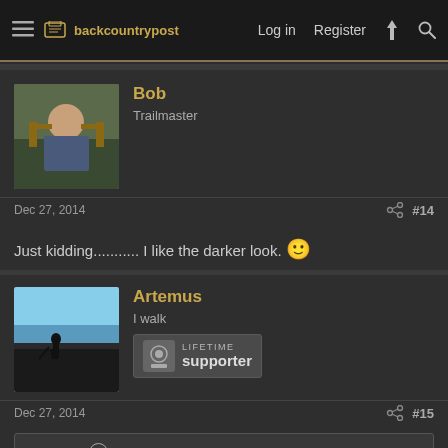backcountrypost | Log in | Register
Bob
Trailmaster
Dec 27, 2014  #14
Just kidding........... I like the darker look. 🙂
Artemus
I walk
LIFETIME supporter
Dec 27, 2014  #15
Nick said: ↑
I see readability for some, but usability? Regardless, for you sir, I